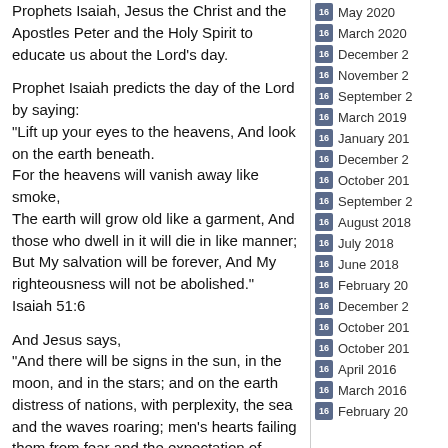Prophets Isaiah, Jesus the Christ and the Apostles Peter and the Holy Spirit to educate us about the Lord's day.
Prophet Isaiah predicts the day of the Lord by saying:
“Lift up your eyes to the heavens, And look on the earth beneath.
For the heavens will vanish away like smoke,
The earth will grow old like a garment, And those who dwell in it will die in like manner; But My salvation will be forever, And My righteousness will not be abolished.”
Isaiah 51:6
And Jesus says,
“And there will be signs in the sun, in the moon, and in the stars; and on the earth distress of nations, with perplexity, the sea and the waves roaring; men’s hearts failing them from fear and the expectation of those things which are
May 2020
March 2020
December 2
November 2
September 2
March 2019
January 201
December 2
October 201
September 2
August 2018
July 2018
June 2018
February 20
December 2
October 201
October 201
April 2016
March 2016
February 20